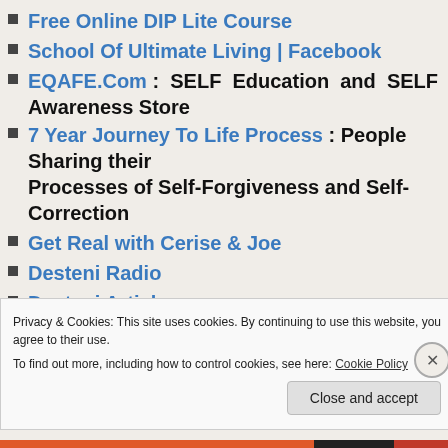Free Online DIP Lite Course
School Of Ultimate Living | Facebook
EQAFE.Com : SELF Education and SELF Awareness Store
7 Year Journey To Life Process : People Sharing their Processes of Self-Forgiveness and Self-Correction
Get Real with Cerise & Joe
Desteni Radio
Desteni Articles
Privacy & Cookies: This site uses cookies. By continuing to use this website, you agree to their use.
To find out more, including how to control cookies, see here: Cookie Policy